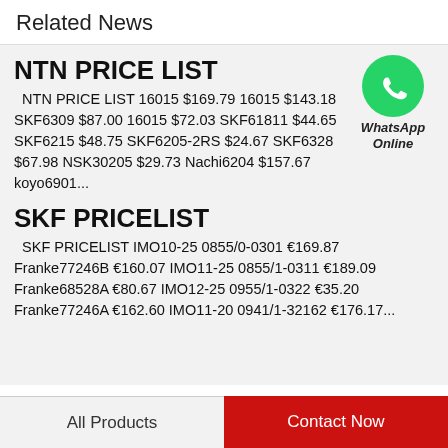Related News
NTN PRICE LIST
NTN PRICE LIST 16015 $169.79 16015 $143.18 SKF6309 $87.00 16015 $72.03 SKF61811 $44.65 SKF6215 $48.75 SKF6205-2RS $24.67 SKF6328 $67.98 NSK30205 $29.73 Nachi6204 $157.67 koyo6901...
[Figure (logo): WhatsApp Online button with green circle phone icon and text WhatsApp Online]
SKF PRICELIST
SKF PRICELIST IMO10-25 0855/0-0301 €169.87 Franke77246B €160.07 IMO11-25 0855/1-0311 €189.09 Franke68528A €80.67 IMO12-25 0955/1-0322 €35.20 Franke77246A €162.60 IMO11-20 0941/1-32162 €176.17...
All Products   Contact Now